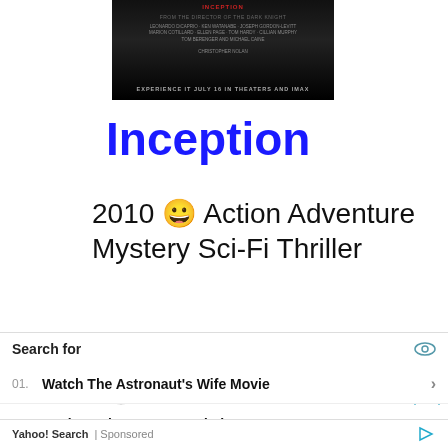[Figure (photo): Movie poster for Inception (2010) — dark background with red title text at top and release date 'EXPERIENCE IT JULY 16 IN THEATERS AND IMAX' at bottom]
Inception
2010 😀 Action Adventure Mystery Sci-Fi Thriller
Get movie Inception
[Figure (logo): Wikipedia globe logo with WIKIPEDIA text and 'The Free Encyclopedia' subtitle]
Inception is a 2010 science fiction heist thriller film
Search for
01. Watch The Astronaut's Wife Movie
02. IMDb Movie Recommendations
Yahoo! Search | Sponsored